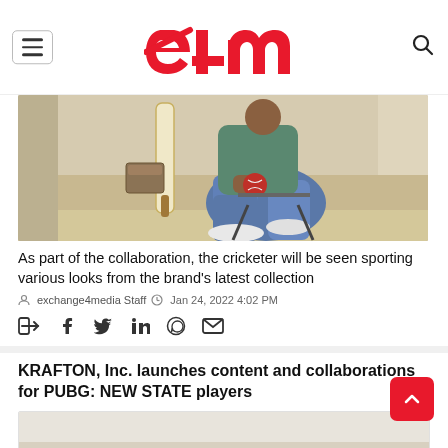e4m
[Figure (photo): Person sitting on a stool holding a cricket ball, with a cricket bat visible in the background.]
As part of the collaboration, the cricketer will be seen sporting various looks from the brand's latest collection
exchange4media Staff  Jan 24, 2022 4:02 PM
[Figure (infographic): Social media share icons: share, Facebook, Twitter, LinkedIn, WhatsApp, email]
KRAFTON, Inc. launches content and collaborations for PUBG: NEW STATE players
[Figure (photo): Partial article image at the bottom of the page]